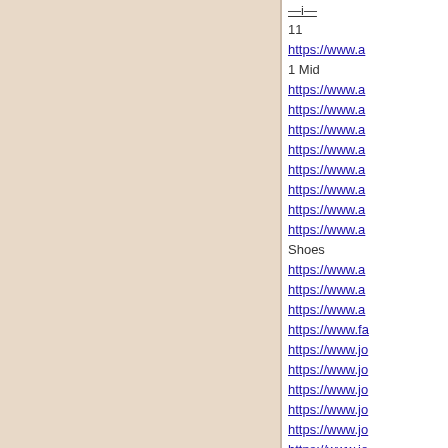[Figure (other): Beige/tan colored background panel on the left side of the page]
11
https://www.a...
1 Mid
https://www.a...
https://www.a...
https://www.a...
https://www.a...
https://www.a...
https://www.a...
https://www.a...
https://www.a...
Shoes
https://www.a...
https://www.a...
https://www.a...
https://www.fa...
https://www.jo...
https://www.jo...
https://www.jo...
https://www.jo...
https://www.jo...
https://www.jo...
https://www.jo...
https://www.jo...